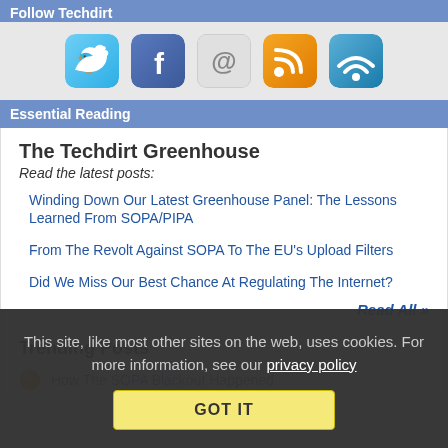Follow Techdirt
[Figure (illustration): Social media icons: Twitter (blue bird), Facebook (blue F), Email (@ symbol), RSS (orange RSS icon), WiFi/Feedly (blue wifi icon)]
Essential Reading
The Techdirt Greenhouse
Read the latest posts:
Winding Down Our Latest Greenhouse Panel: The Lessons Learned From SOPA/PIPA
From The Revolt Against SOPA To The EU's Upload Filters
Did We Miss Our Best Chance At Regulating The Internet?
Read All »
Trending Posts
How The SOPA Blackout Happened
This site, like most other sites on the web, uses cookies. For more information, see our privacy policy
GOT IT